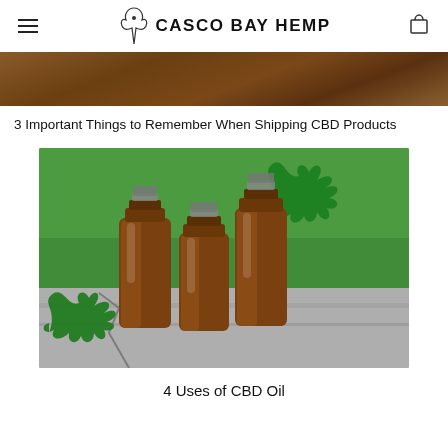CASCO BAY HEMP
[Figure (photo): Partial view of a wooden/brown background image at the top of the page]
3 Important Things to Remember When Shipping CBD Products
[Figure (photo): Three amber glass dropper bottles surrounded by green cannabis/hemp leaves on a stone surface]
4 Uses of CBD Oil